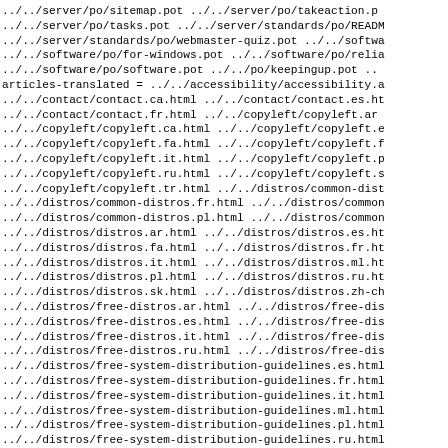../../server/po/sitemap.pot ../../server/po/takeaction.p
../../server/po/tasks.pot ../../server/standards/po/READM
../../server/standards/po/webmaster-quiz.pot ../../softwa
../../software/po/for-windows.pot ../../software/po/relia
../../software/po/software.pot ../../po/keepingup.pot ..
articles-translated = ../../accessibility/accessibility.a
../../contact/contact.ca.html ../../contact/contact.es.ht
../../contact/contact.fr.html ../../copyleft/copyleft.ar
../../copyleft/copyleft.ca.html ../../copyleft/copyleft.e
../../copyleft/copyleft.fa.html ../../copyleft/copyleft.f
../../copyleft/copyleft.it.html ../../copyleft/copyleft.p
../../copyleft/copyleft.ru.html ../../copyleft/copyleft.s
../../copyleft/copyleft.tr.html ../../distros/common-dist
../../distros/common-distros.fr.html ../../distros/common
../../distros/common-distros.pl.html ../../distros/common
../../distros/distros.ar.html ../../distros/distros.es.ht
../../distros/distros.fa.html ../../distros/distros.fr.ht
../../distros/distros.it.html ../../distros/distros.ml.ht
../../distros/distros.pl.html ../../distros/distros.ru.ht
../../distros/distros.sk.html ../../distros/distros.zh-ch
../../distros/free-distros.ar.html ../../distros/free-dis
../../distros/free-distros.es.html ../../distros/free-dis
../../distros/free-distros.it.html ../../distros/free-dis
../../distros/free-distros.ru.html ../../distros/free-dis
../../distros/free-system-distribution-guidelines.es.html
../../distros/free-system-distribution-guidelines.fr.html
../../distros/free-system-distribution-guidelines.it.html
../../distros/free-system-distribution-guidelines.ml.html
../../distros/free-system-distribution-guidelines.pl.html
../../distros/free-system-distribution-guidelines.ru.html